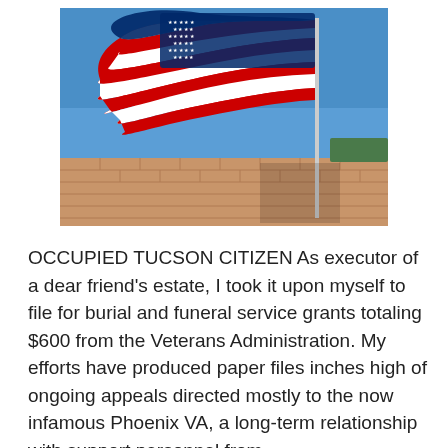[Figure (photo): Photograph of an American flag waving against a blue sky, with a brick building and green roof visible below.]
OCCUPIED TUCSON CITIZEN As executor of a dear friend's estate, I took it upon myself to file for burial and funeral service grants totaling $600 from the Veterans Administration. My efforts have produced paper files inches high of ongoing appeals directed mostly to the now infamous Phoenix VA, a long-term relationship with support personnel from ...